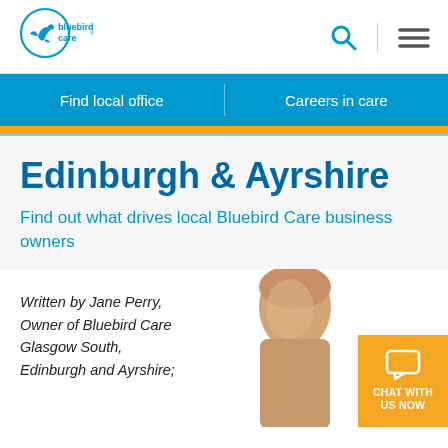[Figure (logo): Bluebird Care logo with bird in circle and text 'bluebird care']
Find local office | Careers in care
Edinburgh & Ayrshire
Find out what drives local Bluebird Care business owners
Written by Jane Perry, Owner of Bluebird Care Glasgow South, Edinburgh and Ayrshire;
[Figure (photo): Woman smiling, cropped portrait photo]
CHAT WITH US NOW